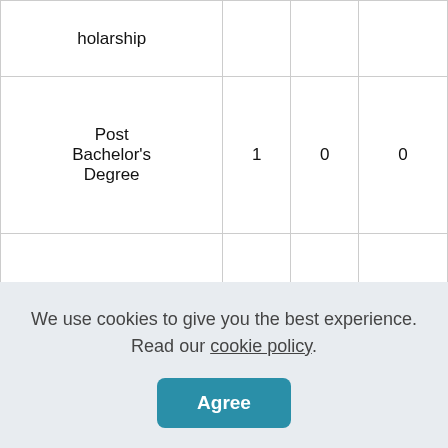| holarship |  |  |  |
| Post
Bachelor's
Degree | 1 | 0 | 0 |
| Total | 3 | 0 | 31 |
We use cookies to give you the best experience. Read our cookie policy.